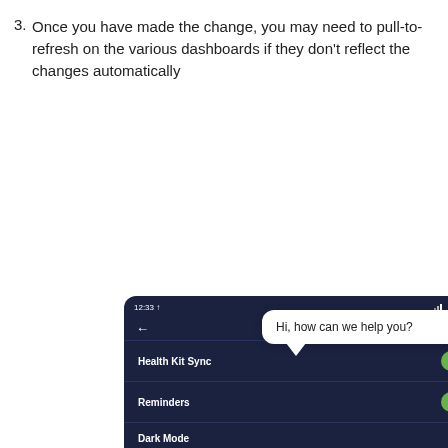Once you have made the change, you may need to pull-to-refresh on the various dashboards if they don't reflect the changes automatically
[Figure (screenshot): Mobile app screenshot showing User Settings screen with Health Kit Sync (toggled on), Reminders (toggled on), Dark Mode, and Glucose Source set to Nutrisense. A chat bubble overlay reads 'Hi, how can we help you?' with a chat icon button visible at bottom right.]